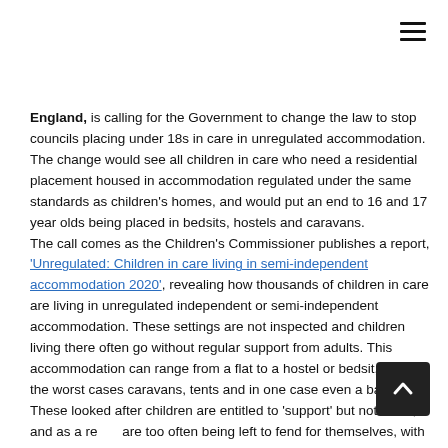[Figure (other): Hamburger menu icon (three horizontal lines) in top right corner]
England, is calling for the Government to change the law to stop councils placing under 18s in care in unregulated accommodation. The change would see all children in care who need a residential placement housed in accommodation regulated under the same standards as children's homes, and would put an end to 16 and 17 year olds being placed in bedsits, hostels and caravans.
The call comes as the Children's Commissioner publishes a report, 'Unregulated: Children in care living in semi-independent accommodation 2020', revealing how thousands of children in care are living in unregulated independent or semi-independent accommodation. These settings are not inspected and children living there often go without regular support from adults. This accommodation can range from a flat to a hostel or bedsit, and in the worst cases caravans, tents and in one case even a barge. These looked after children are entitled to 'support' but not 'care', and as a result are too often being left to fend for themselves, with minimal
[Figure (other): Scroll-to-top button: dark square button with upward chevron arrow, bottom right corner]